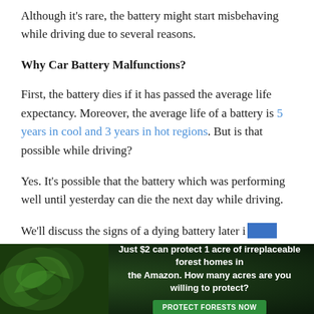Although it's rare, the battery might start misbehaving while driving due to several reasons.
Why Car Battery Malfunctions?
First, the battery dies if it has passed the average life expectancy. Moreover, the average life of a battery is 5 years in cool and 3 years in hot regions. But is that possible while driving?
Yes. It's possible that the battery which was performing well until yesterday can die the next day while driving.
We'll discuss the signs of a dying battery later i
[Figure (infographic): Advertisement banner: Just $2 can protect 1 acre of irreplaceable forest homes in the Amazon. How many acres are you willing to protect? PROTECT FORESTS NOW button with forest/leaf background image.]